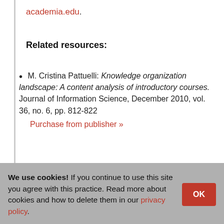academia.edu.
Related resources:
M. Cristina Pattuelli: Knowledge organization landscape: A content analysis of introductory courses. Journal of Information Science, December 2010, vol. 36, no. 6, pp. 812-822 Purchase from publisher »
★ Favorite
Journal Articles, Miscellany Articles, Publications accreditation, American Library Association (ALA), bibliographic
We use cookies! If you continue to use this site you agree with this practice. Read more about cookies and how to delete them in our privacy policy.